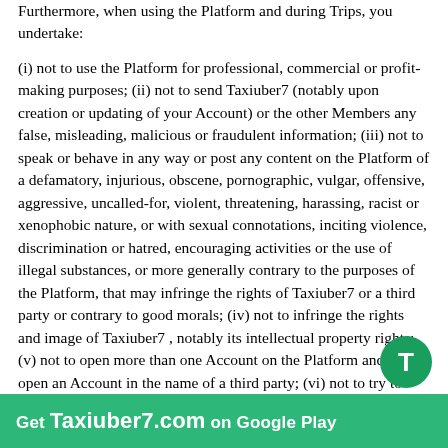Furthermore, when using the Platform and during Trips, you undertake:

(i) not to use the Platform for professional, commercial or profit-making purposes; (ii) not to send Taxiuber7 (notably upon creation or updating of your Account) or the other Members any false, misleading, malicious or fraudulent information; (iii) not to speak or behave in any way or post any content on the Platform of a defamatory, injurious, obscene, pornographic, vulgar, offensive, aggressive, uncalled-for, violent, threatening, harassing, racist or xenophobic nature, or with sexual connotations, inciting violence, discrimination or hatred, encouraging activities or the use of illegal substances, or more generally contrary to the purposes of the Platform, that may infringe the rights of Taxiuber7 or a third party or contrary to good morals; (iv) not to infringe the rights and image of Taxiuber7 , notably its intellectual property rights; (v) not to open more than one Account on the Platform and not to open an Account in the name of a third party; (vi) not to try to bypass the online booking system of the Platform, notably by trying to send another Member your contact details in order to make the booking outside of the Platform and avoid paying the Service Fees; (vii) not to contact another Member, notably via the Platform, for a purpose other than defining the terms of the carpooling; (viii) not to accept or make payment outside of the Platform, save in the cases authorised by these T&Cs in the case of Trips without Booking; (ix) to comply with these T&Cs and the Privacy Policy. More obligations of the